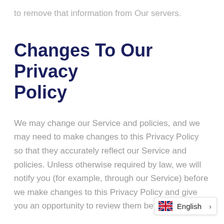to remove that information from Our servers.
Changes To Our Privacy Policy
We may change our Service and policies, and we may need to make changes to this Privacy Policy so that they accurately reflect our Service and policies. Unless otherwise required by law, we will notify you (for example, through our Service) before we make changes to this Privacy Policy and give you an opportunity to review them before they go